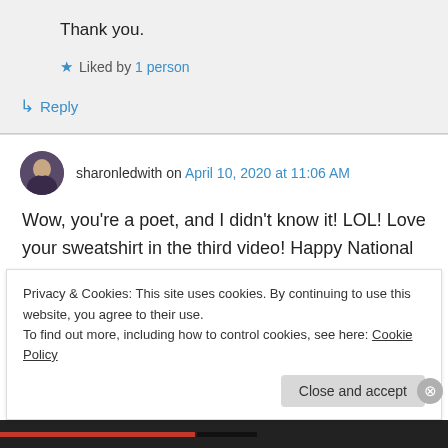Thank you.
★ Liked by 1 person
↳ Reply
sharonledwith on April 10, 2020 at 11:06 AM
Wow, you're a poet, and I didn't know it! LOL! Love your sweatshirt in the third video! Happy National Poetry month, Andrew! Stay well, my
Privacy & Cookies: This site uses cookies. By continuing to use this website, you agree to their use.
To find out more, including how to control cookies, see here: Cookie Policy
Close and accept